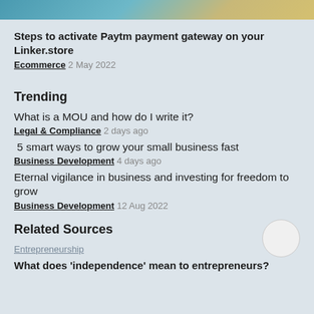[Figure (photo): Partial image at top of page, showing teal/green and gold elements]
Steps to activate Paytm payment gateway on your Linker.store
Ecommerce 2 May 2022
Trending
What is a MOU and how do I write it?
Legal & Compliance 2 days ago
5 smart ways to grow your small business fast
Business Development 4 days ago
Eternal vigilance in business and investing for freedom to grow
Business Development 12 Aug 2022
Related Sources
Entrepreneurship
What does 'independence' mean to entrepreneurs?